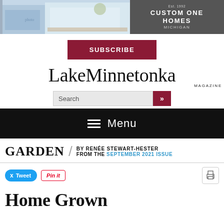[Figure (photo): Custom One Homes advertisement banner with interior home photo on left and dark grey logo panel on right reading EST 1992 CUSTOM ONE HOMES]
SUBSCRIBE
[Figure (logo): LakeMinnetonka MAGAZINE logo in serif font]
Search
Menu
GARDEN / BY RENÉE STEWART-HESTER FROM THE SEPTEMBER 2021 ISSUE
Tweet  Pin it  [print icon]
Home Grown